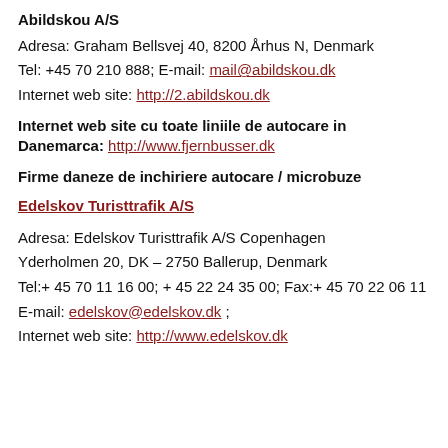Abildskou A/S
Adresa: Graham Bellsvej 40, 8200 Århus N, Denmark
Tel: +45 70 210 888; E-mail: mail@abildskou.dk
Internet web site: http://2.abildskou.dk
Internet web site cu toate liniile de autocare in Danemarca: http://www.fjernbusser.dk
Firme daneze de inchiriere autocare / microbuze
Edelskov Turisttrafik A/S
Adresa: Edelskov Turisttrafik A/S Copenhagen
Yderholmen 20, DK – 2750 Ballerup, Denmark
Tel:+ 45 70 11 16 00; + 45 22 24 35 00; Fax:+ 45 70 22 06 11
E-mail: edelskov@edelskov.dk ;
Internet web site: http://www.edelskov.dk